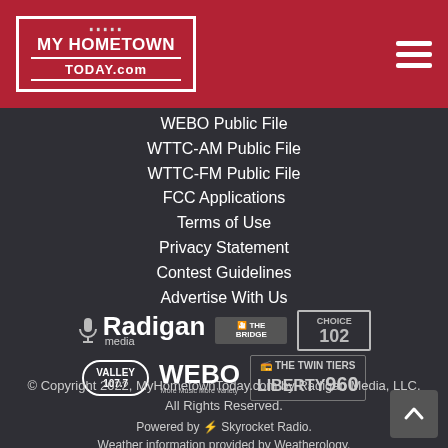[Figure (logo): My Hometown Today .com logo in white on red header bar with hamburger menu icon]
WEBO Public File
WTTC-AM Public File
WTTC-FM Public File
FCC Applications
Terms of Use
Privacy Statement
Contest Guidelines
Advertise With Us
[Figure (logo): Radigan Media logo with microphone icon, The Bridge logo, Choice 102 logo, Valley 107.7 logo, WEBO logo, The Twin Tiers Liberty 960 logo]
© Copyright 2022, MyHometownToday.com by Radigan Media, LLC. All Rights Reserved.
Powered by ⚡ Skyrocket Radio. Weather information provided by Weatherology.